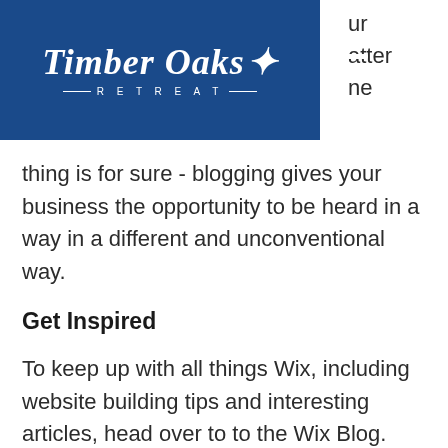[Figure (logo): Timber Oaks Retreat logo — white script text on dark blue background with hamburger menu icon]
thing is for sure - blogging gives your business the opportunity to be heard in a way in a different and unconventional way.
Get Inspired
To keep up with all things Wix, including website building tips and interesting articles, head over to to the Wix Blog. You may even find yourself inspired to start crafting your own blog, adding unique content, and stunning images and videos. Start creating your own blog now. Good luck!